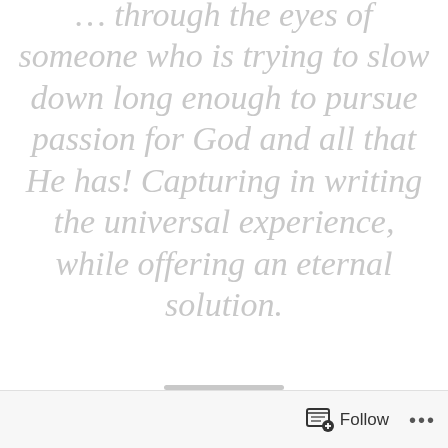… through the eyes of someone who is trying to slow down long enough to pursue passion for God and all that He has! Capturing in writing the universal experience, while offering an eternal solution.
Follow •••